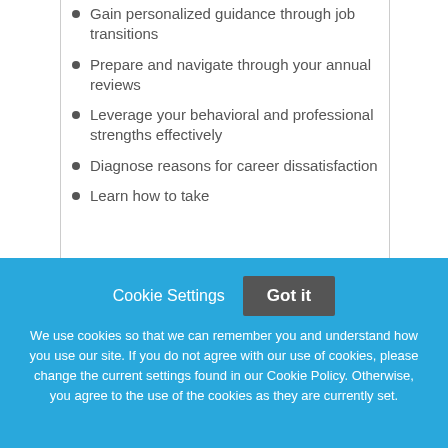Gain personalized guidance through job transitions
Prepare and navigate through your annual reviews
Leverage your behavioral and professional strengths effectively
Diagnose reasons for career dissatisfaction
Learn how to take
Cookie Settings
Got it
We use cookies so that we can remember you and understand how you use our site. If you do not agree with our use of cookies, please change the current settings found in our Cookie Policy. Otherwise, you agree to the use of the cookies as they are currently set.